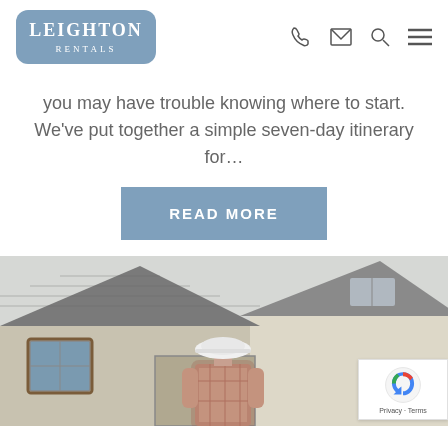[Figure (logo): Leighton Rentals logo: blue rounded rectangle with white text 'LEIGHTON RENTALS']
you may have trouble knowing where to start. We've put together a simple seven-day itinerary for…
[Figure (other): READ MORE button in steel blue]
[Figure (photo): Photo of a person wearing a white hard hat and plaid shirt, viewed from behind, looking at a house with a grey tiled roof. A reCAPTCHA badge appears in the bottom right corner with Privacy and Terms links.]